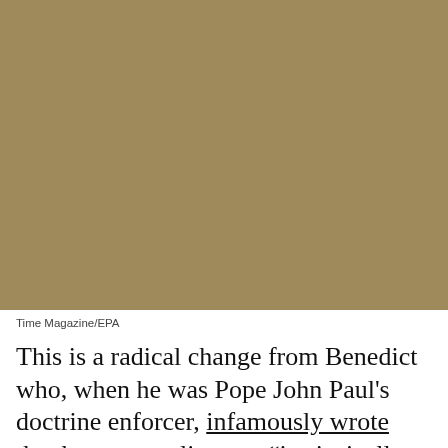[Figure (photo): A photograph with a golden-brown/tan colored background, likely showing a person, rendered as a solid tan/khaki colored rectangle.]
Time Magazine/EPA
This is a radical change from Benedict who, when he was Pope John Paul's doctrine enforcer, infamously wrote that homosexuality was “intrinsically disordered” and “a more or less strong